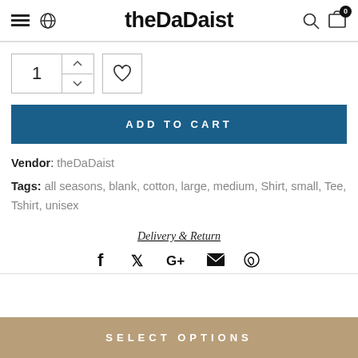theDaDaist
[Figure (screenshot): Quantity selector with up/down arrows and wishlist heart button]
ADD TO CART
Vendor: theDaDaist
Tags: all seasons, blank, cotton, large, medium, Shirt, small, Tee, Tshirt, unisex
Delivery & Return
[Figure (infographic): Social share icons: Facebook, Twitter, Google+, Email, Pinterest]
SELECT OPTIONS